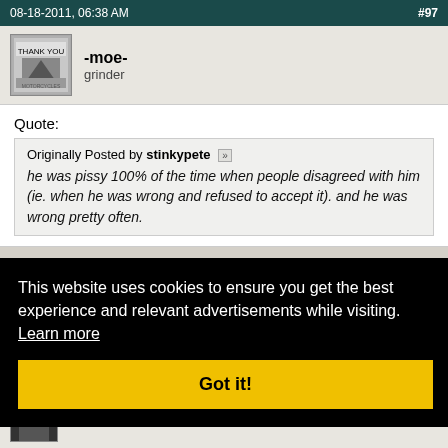08-18-2011, 06:38 AM  #97
-moe-
grinder
Quote:
Originally Posted by stinkypete
he was pissy 100% of the time when people disagreed with him (ie. when he was wrong and refused to accept it). and he was wrong pretty often.
This website uses cookies to ensure you get the best experience and relevant advertisements while visiting.  Learn more
Got it!
#98
Carnal \`Knowledge